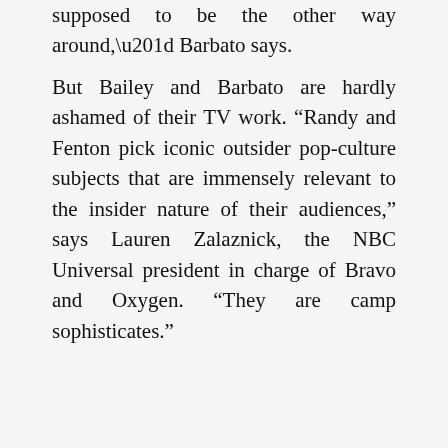supposed to be the other way around,” Barbato says.
But Bailey and Barbato are hardly ashamed of their TV work. “Randy and Fenton pick iconic outsider pop-culture subjects that are immensely relevant to the insider nature of their audiences,” says Lauren Zalaznick, the NBC Universal president in charge of Bravo and Oxygen. “They are camp sophisticates.”
ADVERTISEMENT